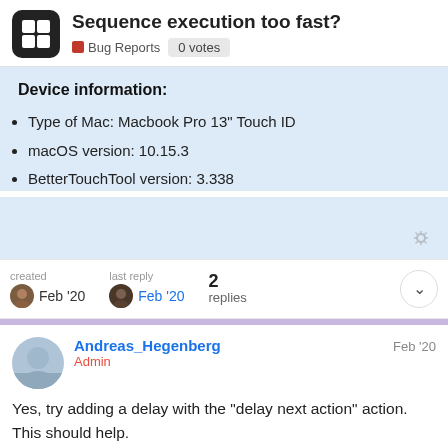Sequence execution too fast? — Bug Reports 0 votes
Device information:
Type of Mac: Macbook Pro 13" Touch ID
macOS version: 10.15.3
BetterTouchTool version: 3.338
created Feb '20  last reply Feb '20  2 replies
Andreas_Hegenberg  Admin  Feb '20
Yes, try adding a delay with the "delay next action" action. This should help.
BTT just fires the commands, it unfortunate launch speed of the different apps.
1 / 3